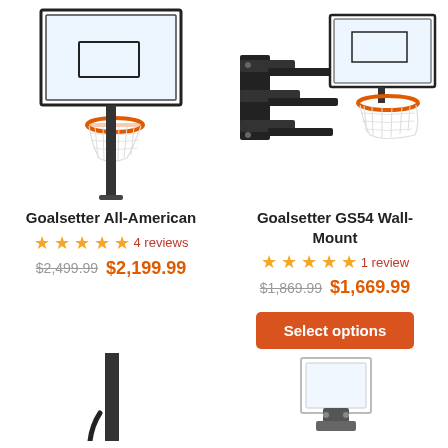[Figure (photo): Goalsetter All-American basketball hoop on a pole with clear backboard and orange rim, shown from the side]
[Figure (photo): Goalsetter GS54 Wall-Mount basketball hoop with black wall mount bracket, clear backboard and orange rim]
Goalsetter All-American
★★★★★ 4 reviews
$2,499.99 $2,199.99
Goalsetter GS54 Wall-Mount
★★★★★ 1 review
$1,869.99 $1,669.99
Select options
[Figure (photo): Partial view of a basketball hoop pole/base at the bottom left]
[Figure (photo): Partial view of a basketball backboard mounting bracket at the bottom right]